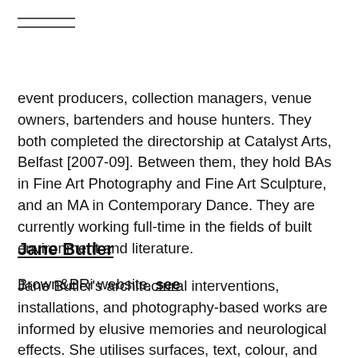event producers, collection managers, venue owners, bartenders and house hunters. They both completed the directorship at Catalyst Arts, Belfast [2007-09]. Between them, they hold BAs in Fine Art Photography and Fine Art Sculpture, and an MA in Contemporary Dance. They are currently working full-time in the fields of built environment and literature.

Brown&BRi website, see
Jane Butler
Jane Butler's architectural interventions, installations, and photography-based works are informed by elusive memories and neurological effects. She utilises surfaces, text, colour, and light to